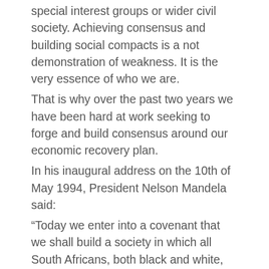special interest groups or wider civil society. Achieving consensus and building social compacts is a not demonstration of weakness. It is the very essence of who we are.
That is why over the past two years we have been hard at work seeking to forge and build consensus around our economic recovery plan.
In his inaugural address on the 10th of May 1994, President Nelson Mandela said:
“Today we enter into a covenant that we shall build a society in which all South Africans, both black and white, will be able to walk tall, without fear in their hearts, assured of their inalienable right to human dignity.”
This government remains irrevocably committed to upholding that covenant.